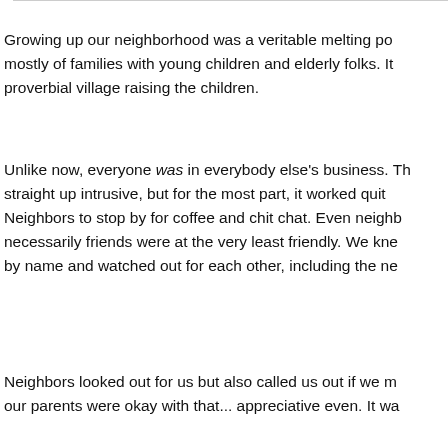Growing up our neighborhood was a veritable melting po... mostly of families with young children and elderly folks. It ... proverbial village raising the children.
Unlike now, everyone was in everybody else's business. Th... straight up intrusive, but for the most part, it worked quit... Neighbors to stop by for coffee and chit chat. Even neighb... necessarily friends were at the very least friendly. We kne... by name and watched out for each other, including the ne...
Neighbors looked out for us but also called us out if we m... our parents were okay with that... appreciative even. It wa...